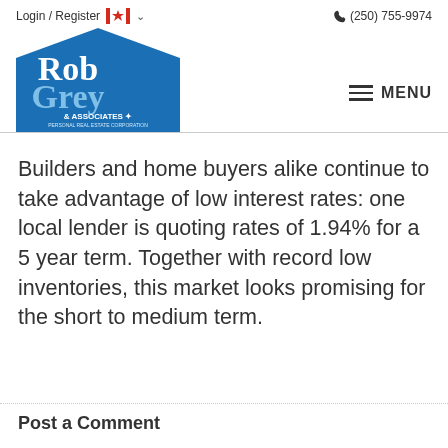Login / Register  🇨🇦 ∨    📞 (250) 755-9974
[Figure (logo): Rob Grey & Associates Personal Real Estate Corporation logo — white text on blue house-shaped background]
Builders and home buyers alike continue to take advantage of low interest rates: one local lender is quoting rates of 1.94% for a 5 year term. Together with record low inventories, this market looks promising for the short to medium term.
Post a Comment